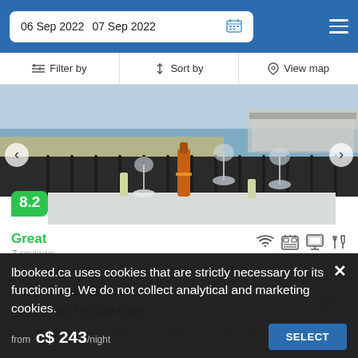06 Sep 2022  07 Sep 2022
Filter by  Sort by  View map
[Figure (photo): Outdoor terrace photo with wine glasses, champagne bottle, and a coastal pier view in the background]
8.2
Great
7 reviews
The largest option:  5 adults  •  3 bedrooms  •  3 beds
900 yd from City Centre
600 yd from The Blakehay
Located in Weston-super-Mare, a 15-minute walk from Water...
lbooked.ca uses cookies that are strictly necessary for its functioning. We do not collect analytical and marketing cookies.
from  c$ 243/night  SELECT